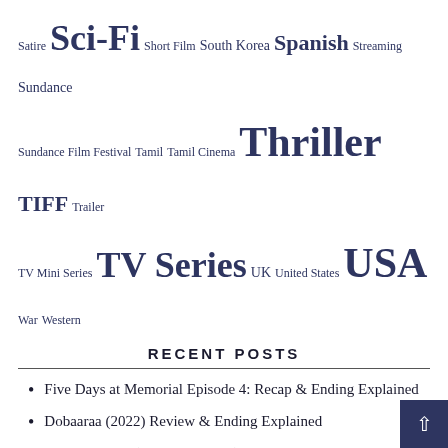Satire  Sci-Fi  Short Film  South Korea  Spanish  Streaming  Sundance  Sundance Film Festival  Tamil  Tamil Cinema  Thriller  TIFF  Trailer  TV Mini Series  TV Series  UK  United States  USA  War  Western
RECENT POSTS
Five Days at Memorial Episode 4: Recap & Ending Explained
Dobaaraa (2022) Review & Ending Explained
The Rehearsal (Season 1 Finale), Episode 6: Recap & Ending Explained
Beast (2022): Review and Ending Explained
Babysitter (2022): Movie Review & Ending Explained